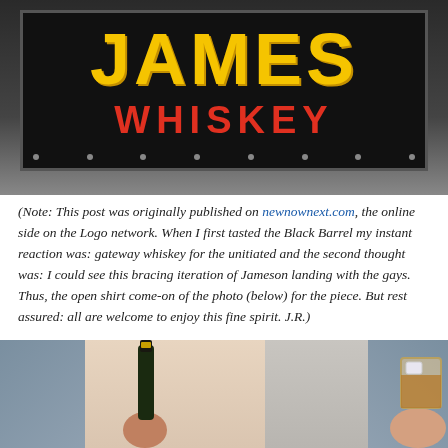[Figure (photo): Jameson Whiskey sign — black enamel board with 'JAMES' in large yellow letters and 'WHISKEY' in red letters, mounted on a grey wall]
(Note: This post was originally published on newnownext.com, the online side on the Logo network. When I first tasted the Black Barrel my instant reaction was: gateway whiskey for the unitiated and the second thought was: I could see this bracing iteration of Jameson landing with the gays. Thus, the open shirt come-on of the photo (below) for the piece. But rest assured: all are welcome to enjoy this fine spirit. J.R.)
[Figure (photo): Man with open grey shirt exposing bare torso/abs, holding a whiskey bottle in left hand and a glass of whiskey with ice in right hand]